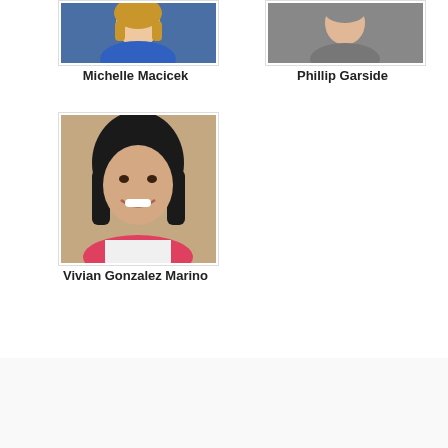[Figure (photo): Headshot of Michelle Macicek, woman with blonde hair, wearing blue top]
Michelle Macicek
[Figure (photo): Headshot of Phillip Garside, person with short hair, wearing grey top]
Phillip Garside
[Figure (photo): Headshot of Vivian Gonzalez Marino, woman with dark hair, smiling, wearing pink/white top]
Vivian Gonzalez Marino
[Figure (logo): Institutional crest/coat of arms logo with bishop's mitre in gold and red/blue heraldic shield]